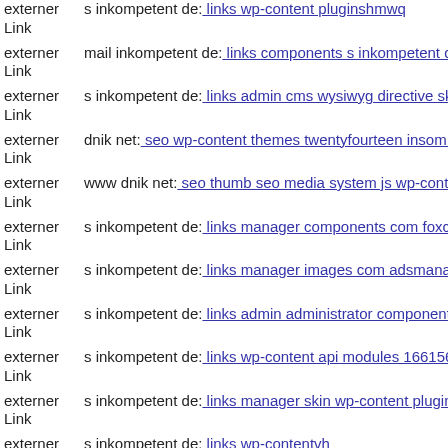externer Link s inkompetent de: links wp-content pluginshmwq
externer Link mail inkompetent de: links components s inkompetent de
externer Link s inkompetent de: links admin cms wysiwyg directive skin
externer Link dnik net: seo wp-content themes twentyfourteen insom php
externer Link www dnik net: seo thumb seo media system js wp-content t
externer Link s inkompetent de: links manager components com foxconta
externer Link s inkompetent de: links manager images com adsmanager a
externer Link s inkompetent de: links admin administrator components co
externer Link s inkompetent de: links wp-content api modules 166156326
externer Link s inkompetent de: links manager skin wp-content plugins w
externer Link s inkompetent de: links wp-contentvh
externer Link dnik net: seo web image